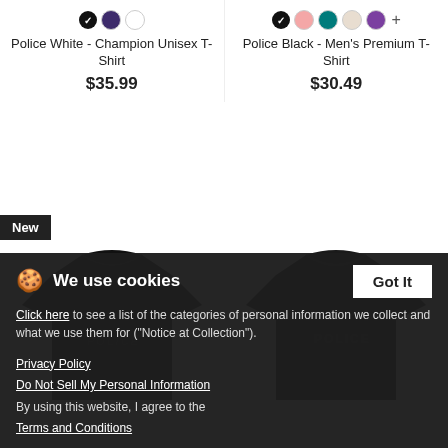[Figure (photo): Product listing: Police White - Champion Unisex T-Shirt with color swatches (black selected, purple, white)]
Police White - Champion Unisex T-Shirt
$35.99
[Figure (photo): Product listing: Police Black - Men's Premium T-Shirt with color swatches (black selected, pink, teal, beige, purple) and plus]
Police Black - Men's Premium T-Shirt
$30.49
[Figure (photo): New badge on black Police t-shirt (left), showing POLICE text on chest]
[Figure (photo): Black Police t-shirt (right), showing POLICE text on chest]
We use cookies
Click here to see a list of the categories of personal information we collect and what we use them for ("Notice at Collection").
Privacy Policy
Do Not Sell My Personal Information
By using this website, I agree to the Terms and Conditions